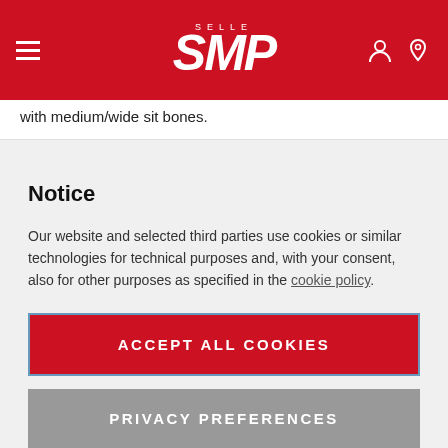Selle SMP — website header with logo, hamburger menu, and icons
with medium/wide sit bones.
Notice
Our website and selected third parties use cookies or similar technologies for technical purposes and, with your consent, also for other purposes as specified in the cookie policy.
ACCEPT ALL COOKIES
PRIVACY PREFERENCES